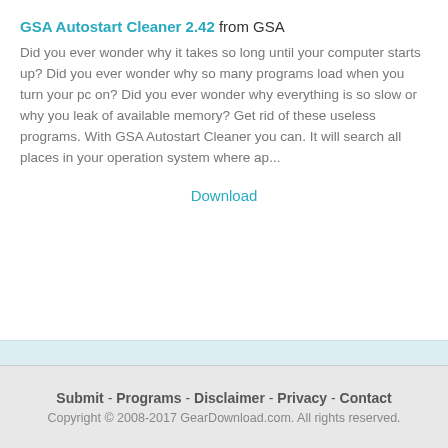GSA Autostart Cleaner 2.42 from GSA
Did you ever wonder why it takes so long until your computer starts up? Did you ever wonder why so many programs load when you turn your pc on? Did you ever wonder why everything is so slow or why you leak of available memory? Get rid of these useless programs. With GSA Autostart Cleaner you can. It will search all places in your operation system where ap...
Download
Submit - Programs - Disclaimer - Privacy - Contact
Copyright © 2008-2017 GearDownload.com. All rights reserved.